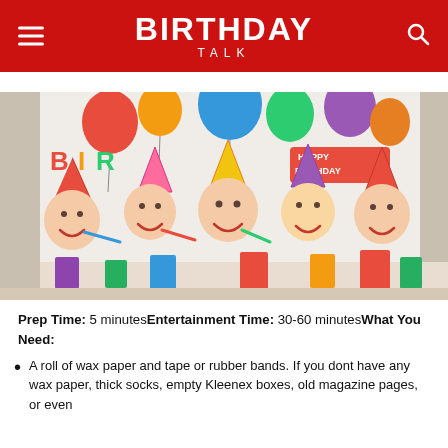BIRTHDAY TALK
[Figure (photo): Five children wearing party hats at a birthday party, laughing and holding party blowers and colorful cups, with balloons and decorations in the background]
Prep Time: 5 minutesEntertainment Time: 30-60 minutesWhat You Need:
A roll of wax paper and tape or rubber bands. If you dont have any wax paper, thick socks, empty Kleenex boxes, old magazine pages, or even